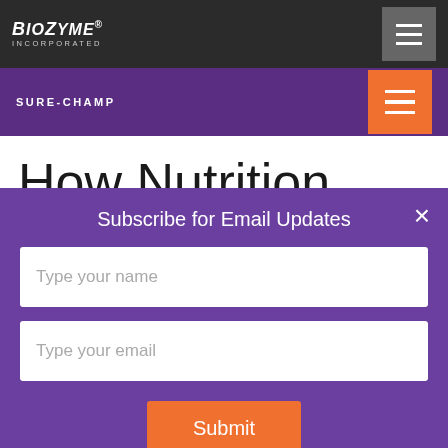BioZyme Incorporated
SURE-CHAMP
How Nutrition Plays a Role in Raising 4-
Subscribe for Email Updates
Type your name
Type your email
Submit